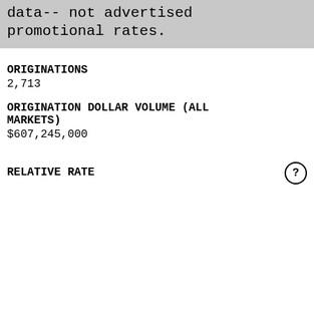data-- not advertised promotional rates.
ORIGINATIONS
2,713
ORIGINATION DOLLAR VOLUME (ALL MARKETS)
$607,245,000
RELATIVE RATE